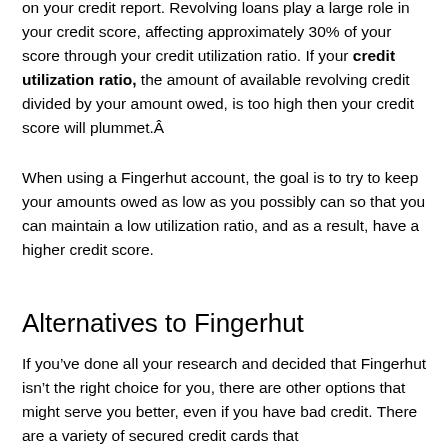on your credit report. Revolving loans play a large role in your credit score, affecting approximately 30% of your score through your credit utilization ratio. If your credit utilization ratio, the amount of available revolving credit divided by your amount owed, is too high then your credit score will plummet.Â
When using a Fingerhut account, the goal is to try to keep your amounts owed as low as you possibly can so that you can maintain a low utilization ratio, and as a result, have a higher credit score.
Alternatives to Fingerhut
If youâve done all your research and decided that Fingerhut isnât the right choice for you, there are other options that might serve you better, even if you have bad credit. There are a variety of secured credit cards that